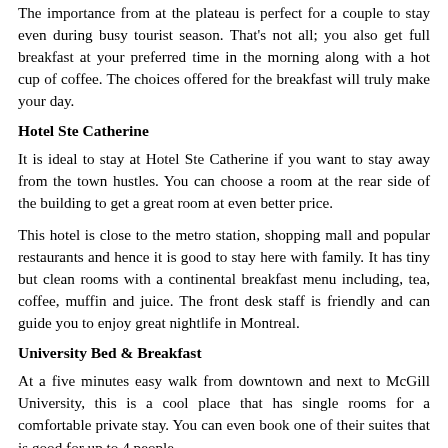The importance from at the plateau is perfect for a couple to stay even during busy tourist season. That's not all; you also get full breakfast at your preferred time in the morning along with a hot cup of coffee. The choices offered for the breakfast will truly make your day.
Hotel Ste Catherine
It is ideal to stay at Hotel Ste Catherine if you want to stay away from the town hustles. You can choose a room at the rear side of the building to get a great room at even better price.
This hotel is close to the metro station, shopping mall and popular restaurants and hence it is good to stay here with family. It has tiny but clean rooms with a continental breakfast menu including, tea, coffee, muffin and juice. The front desk staff is friendly and can guide you to enjoy great nightlife in Montreal.
University Bed & Breakfast
At a five minutes easy walk from downtown and next to McGill University, this is a cool place that has single rooms for a comfortable private stay. You can even book one of their suites that is good for up to 4 people.
The red suite has double bed while others have additional sofa cum